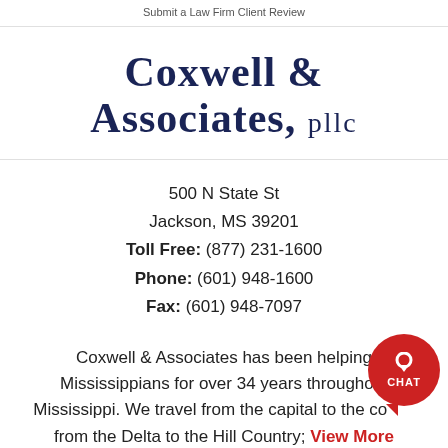Submit a Law Firm Client Review
Coxwell & Associates, PLLC
500 N State St
Jackson, MS 39201
Toll Free: (877) 231-1600
Phone: (601) 948-1600
Fax: (601) 948-7097
Coxwell & Associates has been helping Mississippians for over 34 years throughout Mississippi. We travel from the capital to the coast, from the Delta to the Hill Country; View More